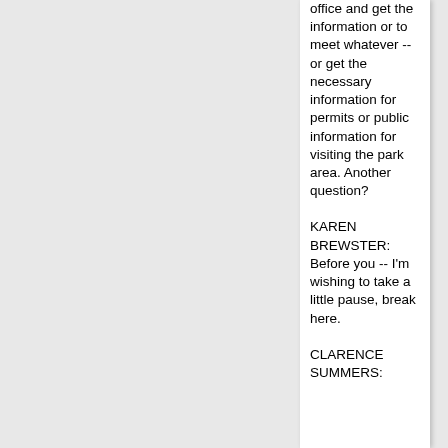office and get the information or to meet whatever -- or get the necessary information for permits or public information for visiting the park area. Another question?
KAREN BREWSTER: Before you -- I'm wishing to take a little pause, break here.
CLARENCE SUMMERS: